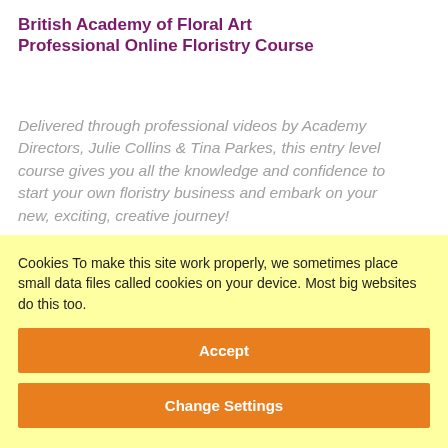British Academy of Floral Art Professional Online Floristry Course
Delivered through professional videos by Academy Directors, Julie Collins & Tina Parkes, this entry level course gives you all the knowledge and confidence to start your own floristry business and embark on your new, exciting, creative journey!
Cookies To make this site work properly, we sometimes place small data files called cookies on your device. Most big websites do this too.
Accept
Change Settings